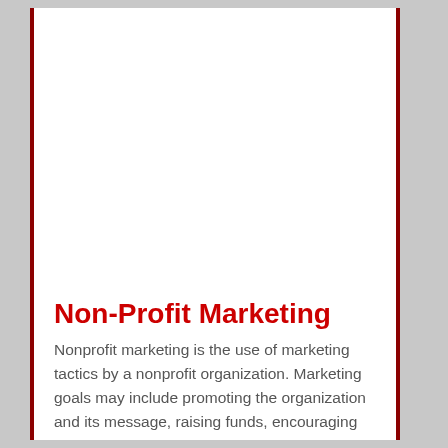Non-Profit Marketing
Nonprofit marketing is the use of marketing tactics by a nonprofit organization. Marketing goals may include promoting the organization and its message, raising funds, encouraging membership, engaging volunteers, and driving political or social change.